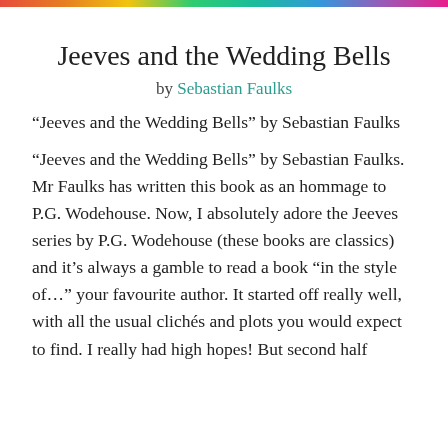Jeeves and the Wedding Bells
by Sebastian Faulks
“Jeeves and the Wedding Bells” by Sebastian Faulks
“Jeeves and the Wedding Bells” by Sebastian Faulks. Mr Faulks has written this book as an hommage to P.G. Wodehouse. Now, I absolutely adore the Jeeves series by P.G. Wodehouse (these books are classics) and it’s always a gamble to read a book “in the style of…” your favourite author. It started off really well, with all the usual clichés and plots you would expect to find. I really had high hopes! But second half